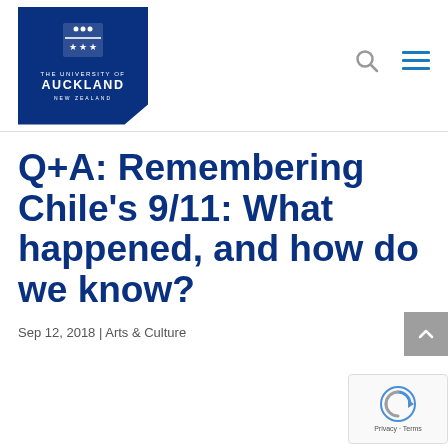[Figure (logo): University of Auckland logo — dark blue pentagon-shaped badge with shield crest and text 'THE UNIVERSITY OF AUCKLAND NEW ZEALAND']
Q+A: Remembering Chile’s 9/11: What happened, and how do we know?
Sep 12, 2018 | Arts & Culture